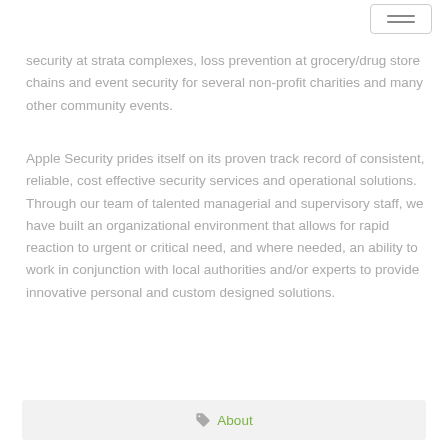hamburger menu button
security at strata complexes, loss prevention at grocery/drug store chains and event security for several non-profit charities and many other community events.
Apple Security prides itself on its proven track record of consistent, reliable, cost effective security services and operational solutions.  Through our team of talented managerial and supervisory staff, we have built an organizational environment that allows for rapid reaction to urgent or critical need, and where needed, an ability to work in conjunction with local authorities and/or experts to provide innovative personal and custom designed solutions.
About